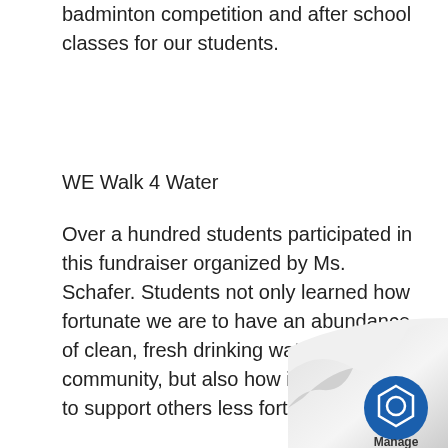badminton competition and after school classes for our students.
WE Walk 4 Water
Over a hundred students participated in this fundraiser organized by Ms. Schafer. Students not only learned how fortunate we are to have an abundance of clean, fresh drinking water in our community, but also how important it is to support others less fortunate.
[Figure (logo): Page curl corner with Manage logo at bottom right]